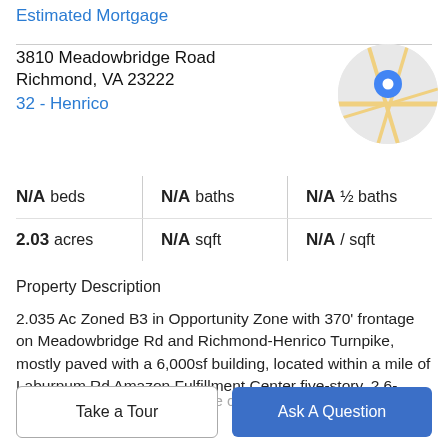Estimated Mortgage
3810 Meadowbridge Road
Richmond, VA 23222
32 - Henrico
[Figure (map): Circular map thumbnail showing location pin at 3810 Meadowbridge Road, Richmond VA]
| N/A beds | N/A baths | N/A ½ baths |
| 2.03 acres | N/A sqft | N/A / sqft |
Property Description
2.035 Ac Zoned B3 in Opportunity Zone with 370' frontage on Meadowbridge Rd and Richmond-Henrico Turnpike, mostly paved with a 6,000sf building, located within a mile of Laburnum Rd Amazon Fulfillment Center five-story, 2.6-
million square-foot warehouse complex on a 247-acre
Take a Tour
Ask A Question